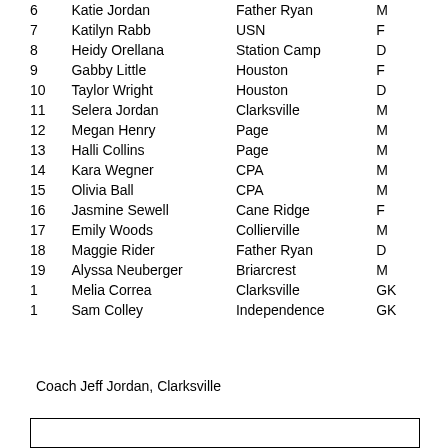| # | Name | School | Pos |
| --- | --- | --- | --- |
| 6 | Katie Jordan | Father Ryan | M |
| 7 | Katilyn Rabb | USN | F |
| 8 | Heidy Orellana | Station Camp | D |
| 9 | Gabby Little | Houston | F |
| 10 | Taylor Wright | Houston | D |
| 11 | Selera Jordan | Clarksville | M |
| 12 | Megan Henry | Page | M |
| 13 | Halli Collins | Page | M |
| 14 | Kara Wegner | CPA | M |
| 15 | Olivia Ball | CPA | M |
| 16 | Jasmine Sewell | Cane Ridge | F |
| 17 | Emily Woods | Collierville | M |
| 18 | Maggie Rider | Father Ryan | D |
| 19 | Alyssa Neuberger | Briarcrest | M |
| 1 | Melia Correa | Clarksville | GK |
| 1 | Sam Colley | Independence | GK |
Coach Jeff Jordan, Clarksville